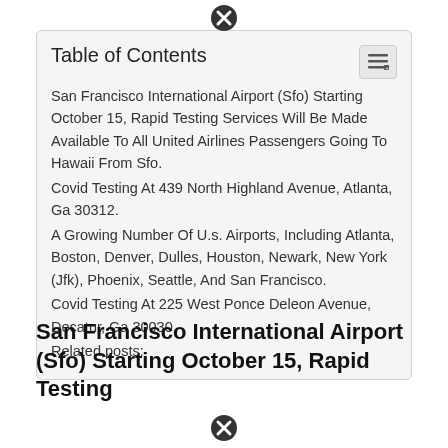Table of Contents
San Francisco International Airport (Sfo) Starting October 15, Rapid Testing Services Will Be Made Available To All United Airlines Passengers Going To Hawaii From Sfo.
Covid Testing At 439 North Highland Avenue, Atlanta, Ga 30312.
A Growing Number Of U.s. Airports, Including Atlanta, Boston, Denver, Dulles, Houston, Newark, New York (Jfk), Phoenix, Seattle, And San Francisco.
Covid Testing At 225 West Ponce Deleon Avenue, Decatur, Ga 30030.
Related posts:
San Francisco International Airport (Sfo) Starting October 15, Rapid Testing